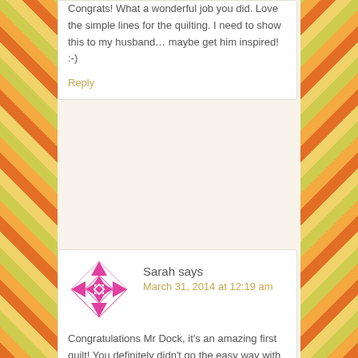Congrats! What a wonderful job you did. Love the simple lines for the quilting. I need to show this to my husband… maybe get him inspired! :-)
Reply
Sarah says
March 31, 2014 at 12:19 am
Congratulations Mr Dock, it's an amazing first quilt! You definitely didn't go the easy way with a design either. May I ask, is the Commonwealth your state Of Colorado or a parcel of Native American land within the state? I'm Australian so not sure of your geography over there.
Reply